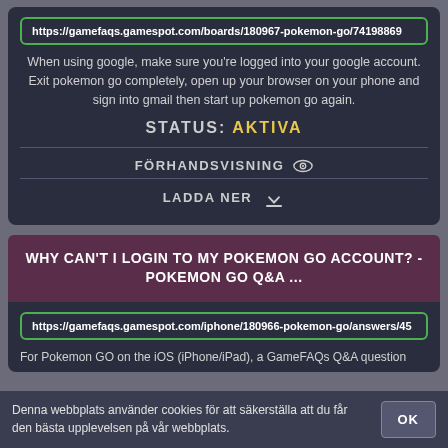https://gamefaqs.gamespot.com/boards/180967-pokemon-go/74198869
When using google, make sure you're logged into your google account. Exit pokemon go completely, open up your browser on your phone and sign into gmail then start up pokemon go again.
STATUS: AKTIVA
FÖRHANDSVISNING
LADDA NER
WHY CAN'T I LOGIN TO MY POKEMON GO ACCOUNT? - POKEMON GO Q&A ...
https://gamefaqs.gamespot.com/iphone/180966-pokemon-go/answers/45
For Pokemon GO on the iOS (iPhone/iPad), a GameFAQs Q&A question
Denna webbplats använder cookies för att säkerställa att du får den bästa upplevelsen på vår webbplats.